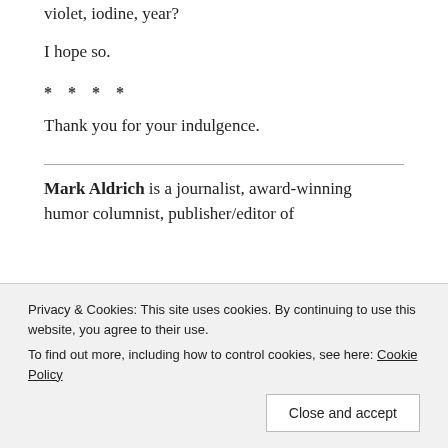violet, iodine, year?
I hope so.
* * * *
Thank you for your indulgence.
Mark Aldrich is a journalist, award-winning humor columnist, publisher/editor of
Privacy & Cookies: This site uses cookies. By continuing to use this website, you agree to their use.
To find out more, including how to control cookies, see here: Cookie Policy